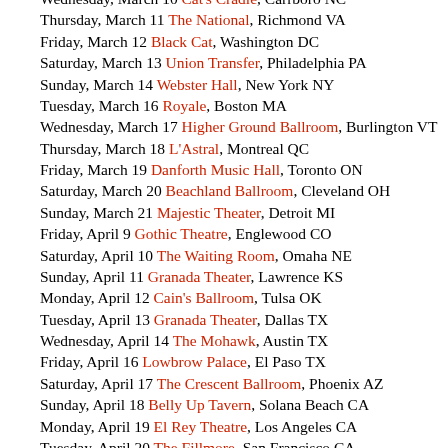Wednesday, March 10 Cat's Cradle, Carrboro NC
Thursday, March 11 The National, Richmond VA
Friday, March 12 Black Cat, Washington DC
Saturday, March 13 Union Transfer, Philadelphia PA
Sunday, March 14 Webster Hall, New York NY
Tuesday, March 16 Royale, Boston MA
Wednesday, March 17 Higher Ground Ballroom, Burlington VT
Thursday, March 18 L'Astral, Montreal QC
Friday, March 19 Danforth Music Hall, Toronto ON
Saturday, March 20 Beachland Ballroom, Cleveland OH
Sunday, March 21 Majestic Theater, Detroit MI
Friday, April 9 Gothic Theatre, Englewood CO
Saturday, April 10 The Waiting Room, Omaha NE
Sunday, April 11 Granada Theater, Lawrence KS
Monday, April 12 Cain's Ballroom, Tulsa OK
Tuesday, April 13 Granada Theater, Dallas TX
Wednesday, April 14 The Mohawk, Austin TX
Friday, April 16 Lowbrow Palace, El Paso TX
Saturday, April 17 The Crescent Ballroom, Phoenix AZ
Sunday, April 18 Belly Up Tavern, Solana Beach CA
Monday, April 19 El Rey Theatre, Los Angeles CA
Tuesday, April 20 The Fillmore, San Francisco CA